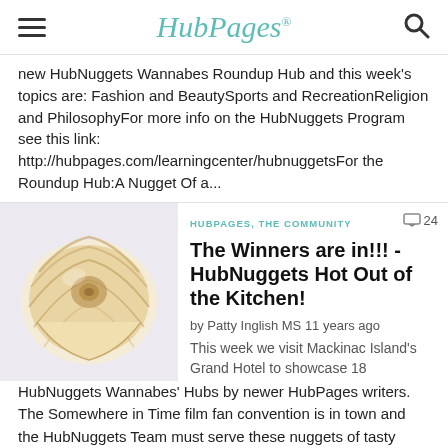HubPages
new HubNuggets Wannabes Roundup Hub and this week's topics are: Fashion and BeautySports and RecreationReligion and PhilosophyFor more info on the HubNuggets Program see this link: http://hubpages.com/learningcenter/hubnuggetsFor the Roundup Hub:A Nugget Of a...
[Figure (photo): A cream/tan spiral seashell on a light purple background]
HUBPAGES, THE COMMUNITY
The Winners are in!!! - HubNuggets Hot Out of the Kitchen!
by Patty Inglish MS 11 years ago
This week we visit Mackinac Island's Grand Hotel to showcase 18 HubNuggets Wannabes' Hubs by newer HubPages writers. The Somewhere in Time film fan convention is in town and the HubNuggets Team must serve these nuggets of tasty writing to a crowd of fans that call themselves Time Travelers....
[Figure (photo): Partial view of a notes pad with yellow/green background]
HUBPAGES, THE COMMUNITY